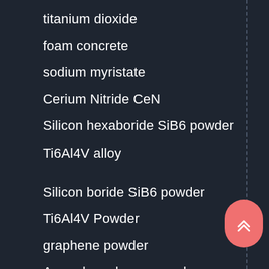titanium dioxide
foam concrete
sodium myristate
Cerium Nitride CeN
Silicon hexaboride SiB6 powder
Ti6Al4V alloy
Silicon boride SiB6 powder
Ti6Al4V Powder
graphene powder
Amorphous boron powder
Molybdenum Carbide Mo2C
boron carbide powder
lithium stearate powder